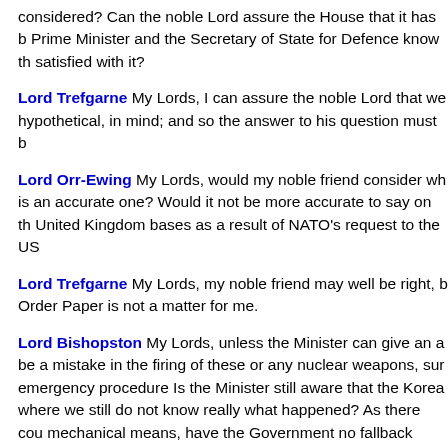considered? Can the noble Lord assure the House that it has b Prime Minister and the Secretary of State for Defence know th satisfied with it?
Lord Trefgarne My Lords, I can assure the noble Lord that we hypothetical, in mind; and so the answer to his question must b
Lord Orr-Ewing My Lords, would my noble friend consider wh is an accurate one? Would it not be more accurate to say on th United Kingdom bases as a result of NATO's request to the US
Lord Trefgarne My Lords, my noble friend may well be right, b Order Paper is not a matter for me.
Lord Bishopston My Lords, unless the Minister can give an a be a mistake in the firing of these or any nuclear weapons, sur emergency procedure Is the Minister still aware that the Korea where we still do not know really what happened? As there cou mechanical means, have the Government no fallback position' one to know before escalation takes place whether that is so? the Prime Minister or the President be consulted? What happe